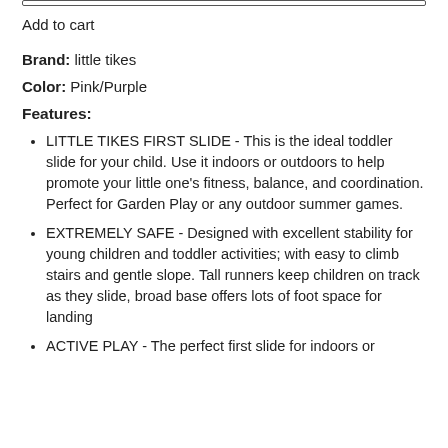Add to cart
Brand: little tikes
Color: Pink/Purple
Features:
LITTLE TIKES FIRST SLIDE - This is the ideal toddler slide for your child. Use it indoors or outdoors to help promote your little one's fitness, balance, and coordination. Perfect for Garden Play or any outdoor summer games.
EXTREMELY SAFE - Designed with excellent stability for young children and toddler activities; with easy to climb stairs and gentle slope. Tall runners keep children on track as they slide, broad base offers lots of foot space for landing
ACTIVE PLAY - The perfect first slide for indoors or